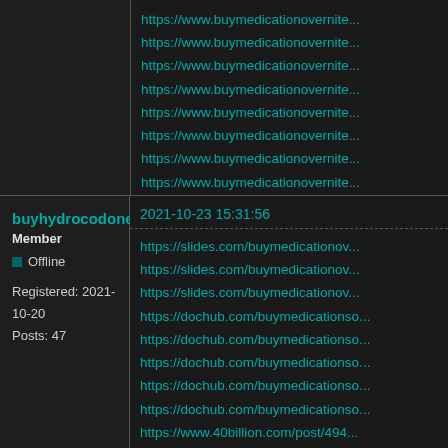https://www.buymedicationovernite... (multiple lines, top row, truncated)
buyhydrocodone
Member
Offline
Registered: 2021-10-20
Posts: 47
2021-10-23 15:31:56
https://slides.com/buymedicationov...
https://slides.com/buymedicationov...
https://slides.com/buymedicationov...
https://dochub.com/buymedicationso...
https://dochub.com/buymedicationso...
https://dochub.com/buymedicationso...
https://dochub.com/buymedicationso...
https://dochub.com/buymedicationso...
https://www.40billion.com/post/494...
https://www.40billion.com/post/494...
https://www.40billion.com/post/494...
https://www.40billion.com/post/494...
https://www.40billion.com/post/494...
https://www.40billion.com/post/494...